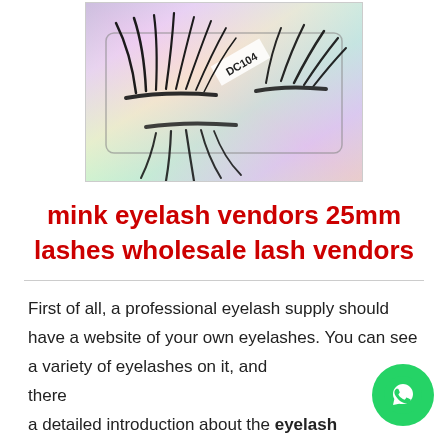[Figure (photo): Two pairs of dramatic long black mink false eyelashes displayed in a holographic/iridescent packaging case labeled DC104]
mink eyelash vendors 25mm lashes wholesale lash vendors
First of all, a professional eyelash supply should have a website of your own eyelashes. You can see a variety of eyelashes on it, and there a detailed introduction about the eyelash
[Figure (logo): WhatsApp green circular button icon]